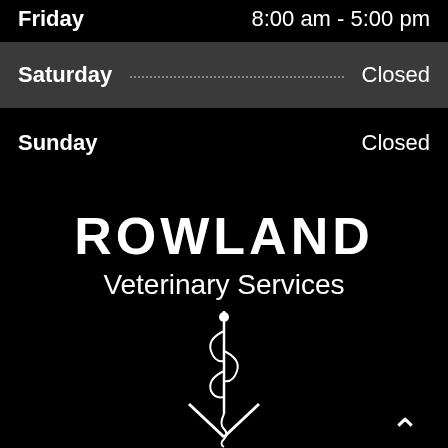Friday  8:00 am - 5:00 pm
Saturday  Closed
Sunday  Closed
ROWLAND
Veterinary Services
[Figure (logo): Rowland Veterinary Services logo: veterinary caduceus symbol (snake wrapped around staff with V shape) in white on black background]